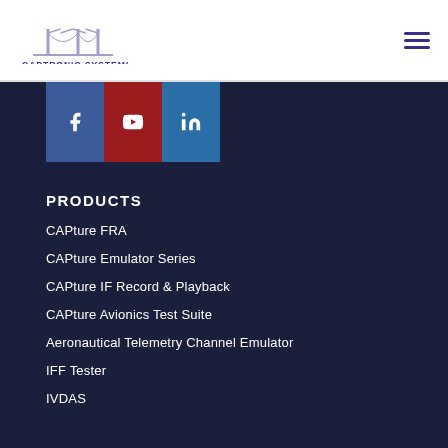[Figure (logo): Captronic Systems logo with bridge icon and text]
[Figure (infographic): Hamburger menu icon (three horizontal lines)]
[Figure (infographic): Social media icons: Facebook, YouTube, LinkedIn]
PRODUCTS
CAPture FRA
CAPture Emulator Series
CAPture IF Record & Playback
CAPture Avionics Test Suite
Aeronautical Telemetry Channel Emulator
IFF Tester
IVDAS